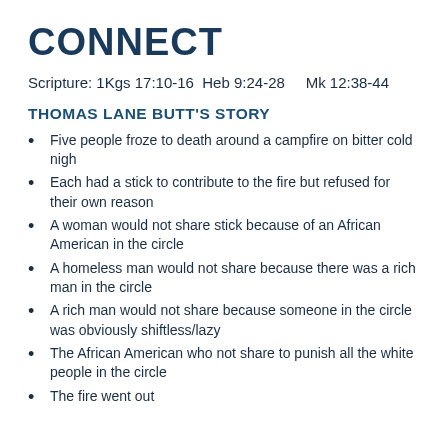CONNECT
Scripture: 1Kgs 17:10-16  Heb 9:24-28    Mk 12:38-44
THOMAS LANE BUTT'S STORY
Five people froze to death around a campfire on bitter cold nigh
Each had a stick to contribute to the fire but refused for their own reason
A woman would not share stick because of an African American in the circle
A homeless man would not share because there was a rich man in the circle
A rich man would not share because someone in the circle was obviously shiftless/lazy
The African American who not share to punish all the white people in the circle
The fire went out